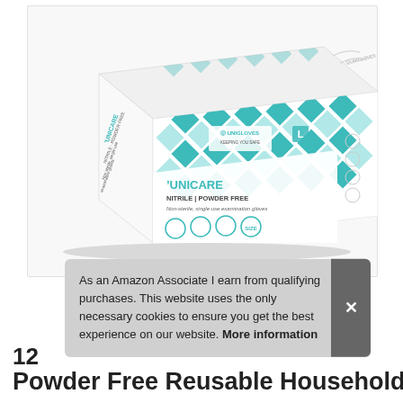[Figure (photo): Product photo of UNICARE Nitrile Powder Free examination gloves box by Unigloves. White box with teal/turquoise diamond checkerboard pattern. Text on box: UNICARE, NITRILE | POWDER FREE, Non-sterile, single use examination gloves, UNIGLOVES KEEPING YOU SAFE, size and quantity indicators.]
As an Amazon Associate I earn from qualifying purchases. This website uses the only necessary cookies to ensure you get the best experience on our website. More information
12
Powder Free Reusable Household